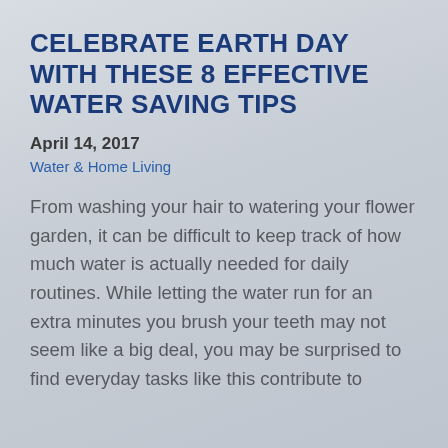CELEBRATE EARTH DAY WITH THESE 8 EFFECTIVE WATER SAVING TIPS
April 14, 2017
Water & Home Living
From washing your hair to watering your flower garden, it can be difficult to keep track of how much water is actually needed for daily routines. While letting the water run for an extra minutes you brush your teeth may not seem like a big deal, you may be surprised to find everyday tasks like this contribute to